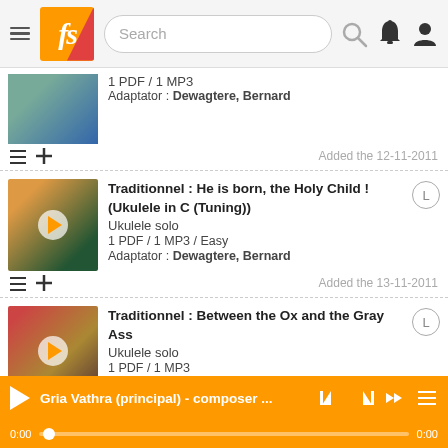Search bar and navigation header with logo fs, search field, bell icon, user icon
1 PDF / 1 MP3
Adaptor : Dewagtere, Bernard
Added the 12-11-2011
Traditionnel : He is born, the Holy Child ! (Ukulele in C (Tuning))
Ukulele solo
1 PDF / 1 MP3 / Easy
Adaptor : Dewagtere, Bernard
Added the 13-11-2011
Traditionnel : Between the Ox and the Gray Ass
Ukulele solo
1 PDF / 1 MP3
Adaptor : Dewagtere, Bernard
Added the 14-11-2011
Gria Vathra (principal) - composer ... 0:00 0:00